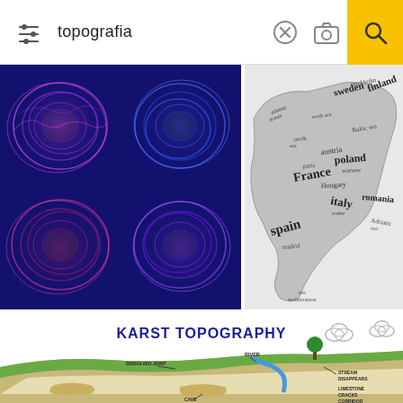topografia
[Figure (illustration): Four colorful topographic wave forms on dark blue background, pink and blue gradient contour shapes arranged in 2x2 grid]
[Figure (map): Hand-drawn typographic map of Europe with country and city names in varying handwritten font sizes: atlantic ocean, sweden, stockholm, finland, france, paris, spain, madrid, poland, warsaw, italy, rome, romania, and other labels]
[Figure (engineering-diagram): Karst Topography educational diagram showing river, dissolved joint, stream disappears, limestone, cracks, corridor, cave labels with cross-section terrain illustration]
KARST TOPOGRAPHY